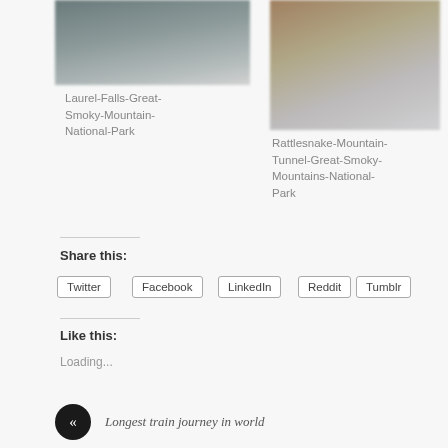[Figure (photo): Blurred photo of Laurel Falls, Great Smoky Mountain National Park]
Laurel-Falls-Great-Smoky-Mountain-National-Park
[Figure (photo): Blurred photo of Rattlesnake Mountain Tunnel, Great Smoky Mountains National Park]
Rattlesnake-Mountain-Tunnel-Great-Smoky-Mountains-National-Park
Share this:
Twitter
Facebook
LinkedIn
Reddit
Tumblr
Pinterest
Like this:
Loading...
« Longest train journey in world